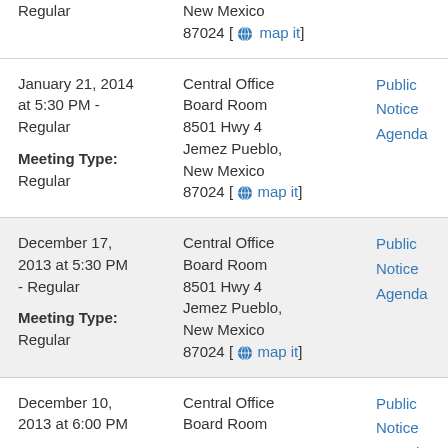| Date/Type | Location | Links |
| --- | --- | --- |
| Regular | New Mexico
87024 [map it] |  |
| January 21, 2014 at 5:30 PM - Regular
Meeting Type: Regular | Central Office Board Room
8501 Hwy 4
Jemez Pueblo,
New Mexico
87024 [map it] | Public Notice
Agenda |
| December 17, 2013 at 5:30 PM - Regular
Meeting Type: Regular | Central Office Board Room
8501 Hwy 4
Jemez Pueblo,
New Mexico
87024 [map it] | Public Notice
Agenda |
| December 10, 2013 at 6:00 PM | Central Office Board Room | Public Notice
Agenda |